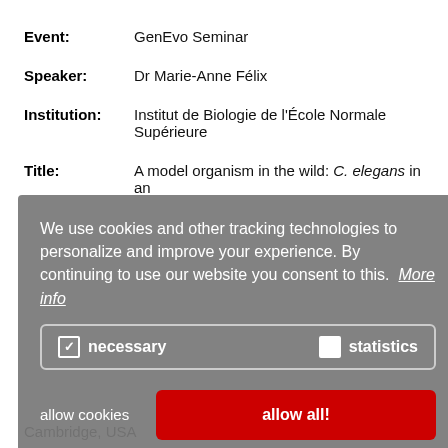Event: GenEvo Seminar
Speaker: Dr Marie-Anne Félix
Institution: Institut de Biologie de l'École Normale Supérieure
Title: A model organism in the wild: C. elegans in an...
We use cookies and other tracking technologies to personalize and improve your experience. By continuing to use our website you consent to this. More info
necessary   statistics
allow cookies   allow all!
Cambridge, USA